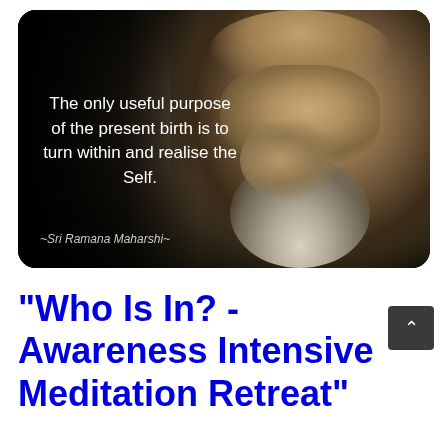[Figure (photo): Dark portrait photo of Sri Ramana Maharshi, an elderly Indian sage with white beard and peaceful expression, against a dark background. White text overlaid on the left side reads: 'The only useful purpose of the present birth is to turn within and realise the Self.' Attribution at bottom reads '~Sri Ramana Maharshi~']
“Who Is In? - Awareness Intensive Meditation Retreat”